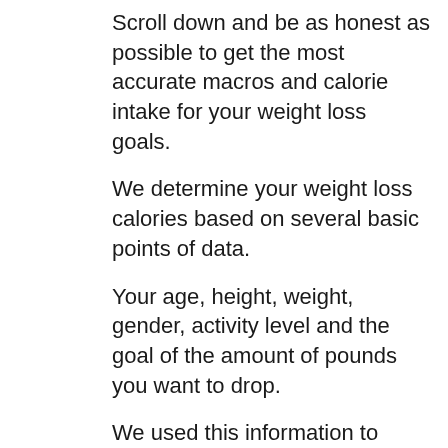Scroll down and be as honest as possible to get the most accurate macros and calorie intake for your weight loss goals.
We determine your weight loss calories based on several basic points of data.
Your age, height, weight, gender, activity level and the goal of the amount of pounds you want to drop.
We used this information to calculate the number of calories your body uses per day. More more info about your current lifestyle the better.
This data we collect above will guide us closer to your ideal weight loss metrics, so it is uber important that you enter the